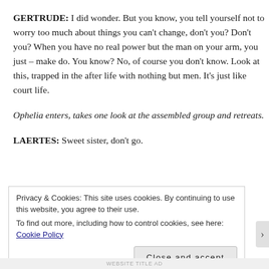GERTRUDE: I did wonder. But you know, you tell yourself not to worry too much about things you can't change, don't you? Don't you? When you have no real power but the man on your arm, you just – make do. You know? No, of course you don't know. Look at this, trapped in the after life with nothing but men. It's just like court life.
Ophelia enters, takes one look at the assembled group and retreats.
LAERTES: Sweet sister, don't go.
Privacy & Cookies: This site uses cookies. By continuing to use this website, you agree to their use.
To find out more, including how to control cookies, see here: Cookie Policy
Close and accept